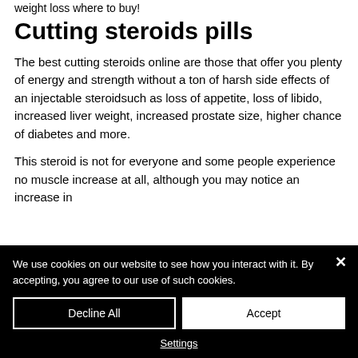weight loss where to buy!
Cutting steroids pills
The best cutting steroids online are those that offer you plenty of energy and strength without a ton of harsh side effects of an injectable steroidsuch as loss of appetite, loss of libido, increased liver weight, increased prostate size, higher chance of diabetes and more.
This steroid is not for everyone and some people experience no muscle increase at all, although you may notice an increase in
We use cookies on our website to see how you interact with it. By accepting, you agree to our use of such cookies.
Decline All
Accept
Settings